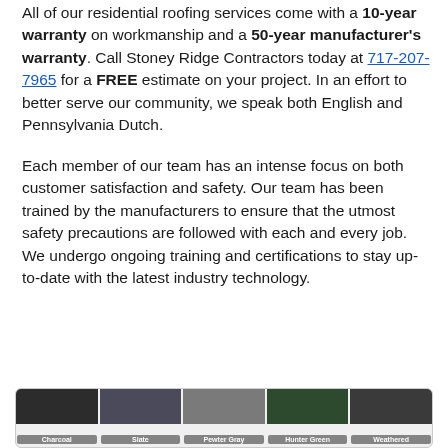All of our residential roofing services come with a 10-year warranty on workmanship and a 50-year manufacturer's warranty. Call Stoney Ridge Contractors today at 717-207-7965 for a FREE estimate on your project. In an effort to better serve our community, we speak both English and Pennsylvania Dutch.
Each member of our team has an intense focus on both customer satisfaction and safety. Our team has been trained by the manufacturers to ensure that the utmost safety precautions are followed with each and every job. We undergo ongoing training and certifications to stay up-to-date with the latest industry technology.
[Figure (illustration): A row of five roofing shingle color swatches: Charcoal, Slate, Pewter Gray, Hunter Green, Weathered]